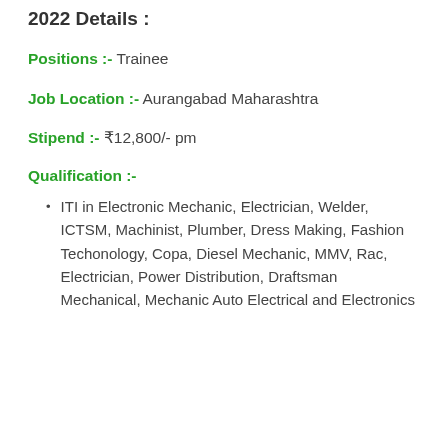2022 Details :
Positions :- Trainee
Job Location :- Aurangabad Maharashtra
Stipend :- ₹12,800/- pm
Qualification :-
ITI in Electronic Mechanic, Electrician, Welder, ICTSM, Machinist, Plumber, Dress Making, Fashion Techonology, Copa, Diesel Mechanic, MMV, Rac, Electrician, Power Distribution, Draftsman Mechanical, Mechanic Auto Electrical and Electronics